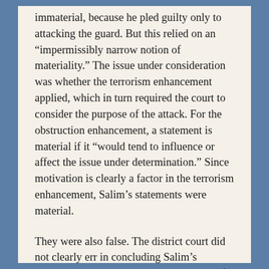immaterial, because he pled guilty only to attacking the guard. But this relied on an “impermissibly narrow notion of materiality.” The issue under consideration was whether the terrorism enhancement applied, which in turn required the court to consider the purpose of the attack. For the obstruction enhancement, a statement is material if it “would tend to influence or affect the issue under determination.” Since motivation is clearly a factor in the terrorism enhancement, Salim’s statements were material.
They were also false. The district court did not clearly err in concluding Salim’s testimony that he believed that a change of counsel could be effectuated unilaterally by his counsel was a lie. Finally, the district court made adequate findings as to every element of the enhancement, including intent.
Official Victim